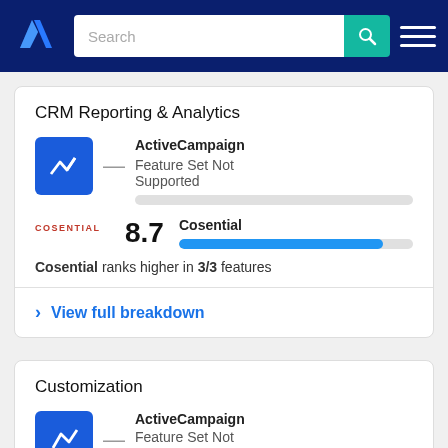TrustRadius navigation bar with search
CRM Reporting & Analytics
ActiveCampaign — Feature Set Not Supported
Cosential 8.7
Cosential ranks higher in 3/3 features
> View full breakdown
Customization
ActiveCampaign — Feature Set Not